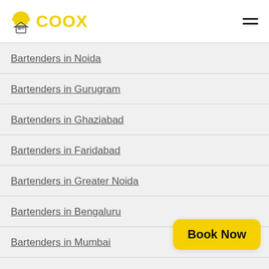COOX
Bartenders in Noida
Bartenders in Gurugram
Bartenders in Ghaziabad
Bartenders in Faridabad
Bartenders in Greater Noida
Bartenders in Bengaluru
Bartenders in Mumbai